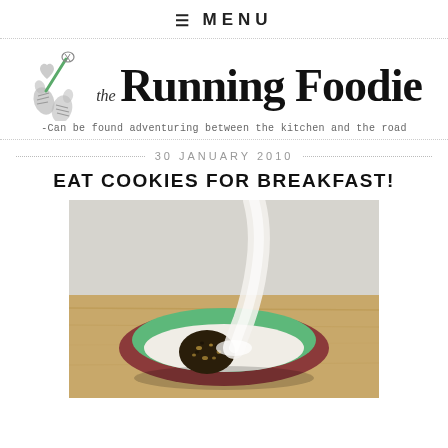≡ MENU
[Figure (logo): The Running Foodie blog logo with shoe-print and whisk icon, tagline: -Can be found adventuring between the kitchen and the road]
30 JANUARY 2010
EAT COOKIES FOR BREAKFAST!
[Figure (photo): A dark cookie in a green and red bowl with milk being poured over it from above, set on a wooden surface with a light background.]